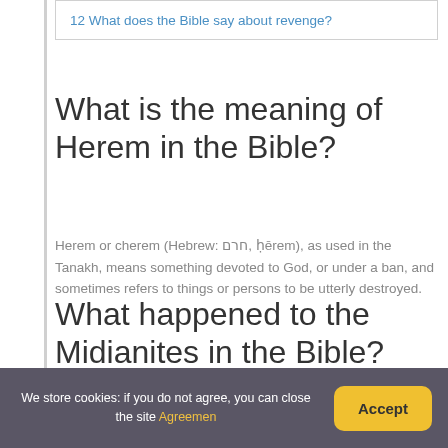12 What does the Bible say about revenge?
What is the meaning of Herem in the Bible?
Herem or cherem (Hebrew: חרם, ḥērem), as used in the Tanakh, means something devoted to God, or under a ban, and sometimes refers to things or persons to be utterly destroyed.
What happened to the Midianites in the Bible?
According to the Book of Judges, the Israelite chieftain
We store cookies: if you do not agree, you can close the site Agreemen
Accept